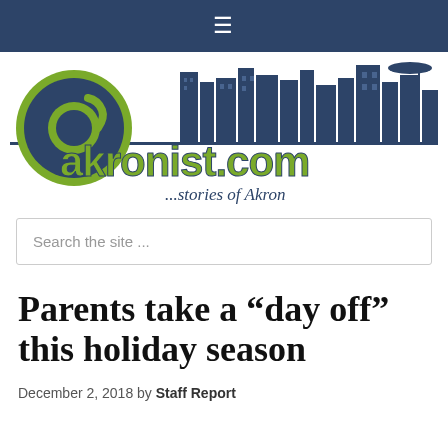≡
[Figure (logo): akronist.com logo with cityscape background and tagline '...stories of Akron']
Search the site ...
Parents take a “day off” this holiday season
December 2, 2018 by Staff Report